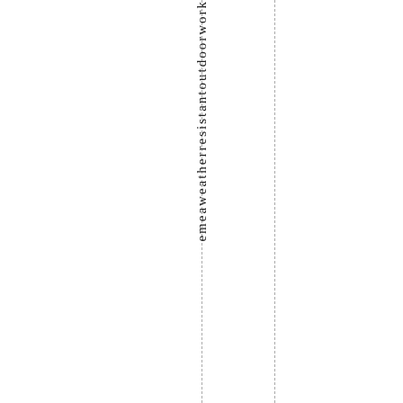emeaweatherresistantoutdoorwork